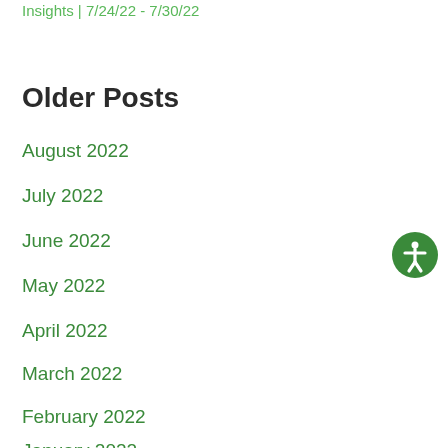Insights | 7/24/22 - 7/30/22
Older Posts
August 2022
July 2022
June 2022
May 2022
April 2022
March 2022
February 2022
January 2022